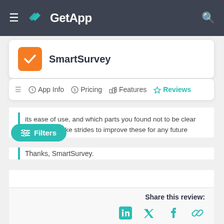GetApp
SmartSurvey
App Info  Pricing  Features  Reviews
its ease of use, and which parts you found not to be clear — we can make strides to improve these for any future
Thanks, SmartSurvey.
Share this review: